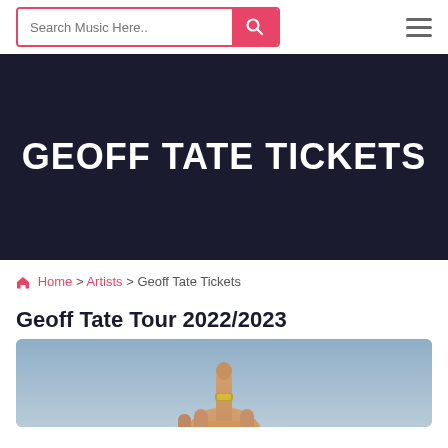Search Music Here..
GEOFF TATE TICKETS
Home > Artists > Geoff Tate Tickets
Geoff Tate Tour 2022/2023
[Figure (photo): Photo of Geoff Tate, partial view showing a hand pointing upward with a ring, against a blue/grey background]